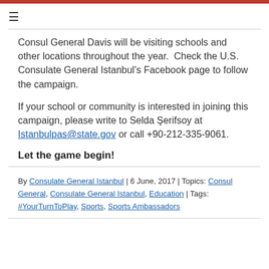≡
Consul General Davis will be visiting schools and other locations throughout the year.  Check the U.S. Consulate General Istanbul's Facebook page to follow the campaign.
If your school or community is interested in joining this campaign, please write to Selda Şerifsoy at Istanbulpas@state.gov or call +90-212-335-9061.
Let the game begin!
By Consulate General Istanbul | 6 June, 2017 | Topics: Consul General, Consulate General Istanbul, Education | Tags: #YourTurnToPlay, Sports, Sports Ambassadors